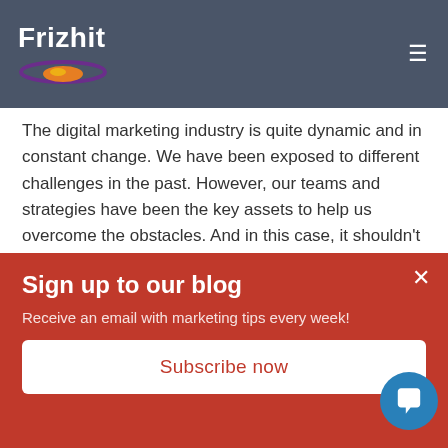Frizhit
The digital marketing industry is quite dynamic and in constant change. We have been exposed to different challenges in the past. However, our teams and strategies have been the key assets to help us overcome the obstacles. And in this case, it shouldn't be any different.
From the point of view of a user, it is true that the privacy boundaries in the digital ecosystem have been crossing off-limits in recent years. As an ecosystem and as marketers,
Sign up to our blog
Receive an email with marketing tips every week!
Subscribe now